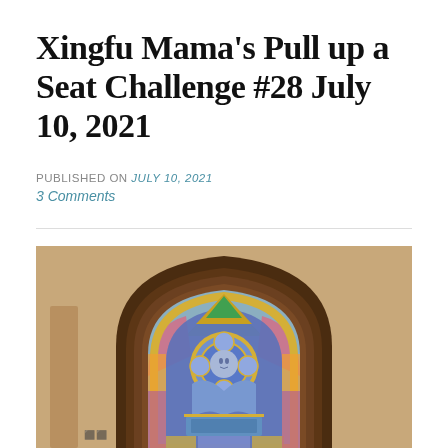Xingfu Mama's Pull up a Seat Challenge #28 July 10, 2021
PUBLISHED ON July 10, 2021
3 Comments
[Figure (photo): A stained glass church window with a Gothic arch shape set in a dark brown wooden frame against a tan/beige wall. The stained glass depicts a figure, possibly Jesus or an angel, in blue tones with colorful geometric and floral patterns surrounding it. The window has multiple layers of arched framing within the Gothic pointed arch shape.]